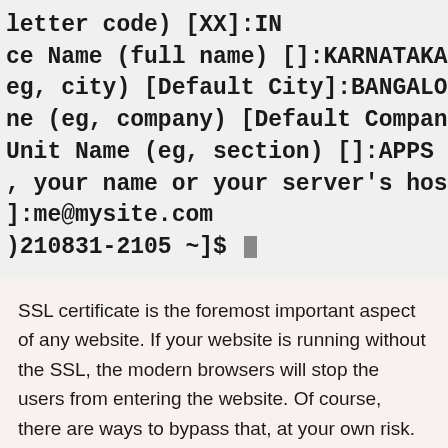[Figure (screenshot): Terminal/command-line screenshot showing SSL certificate generation prompts. Lines shown: 'letter code) [XX]:IN', 'ce Name (full name) []:KARNATAKA', 'eg, city) [Default City]:BANGALORE', 'ne (eg, company) [Default Company', 'Unit Name (eg, section) []:APPS', ', your name or your server's host', ']:me@mysite.com', ')210831-2105 ~]$' with cursor]
SSL certificate is the foremost important aspect of any website. If your website is running without the SSL, the modern browsers will stop the users from entering the website. Of course, there are ways to bypass that, at your own risk. As long as your website has no commercial data ...